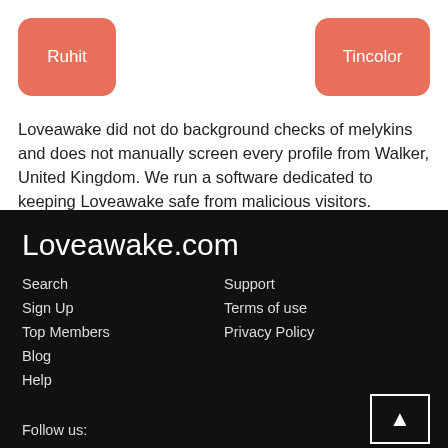[Figure (other): Salmon/coral colored rounded button labeled 'Ruhit']
[Figure (other): Salmon/coral colored rounded button labeled 'Tincolor']
Loveawake did not do background checks of melykins and does not manually screen every profile from Walker, United Kingdom. We run a software dedicated to keeping Loveawake safe from malicious visitors.
Loveawake.com
Search
Sign Up
Top Members
Blog
Help
Support
Terms of use
Privacy Policy
Follow us:
[Figure (other): Social media icon box (white border square with icon inside)]